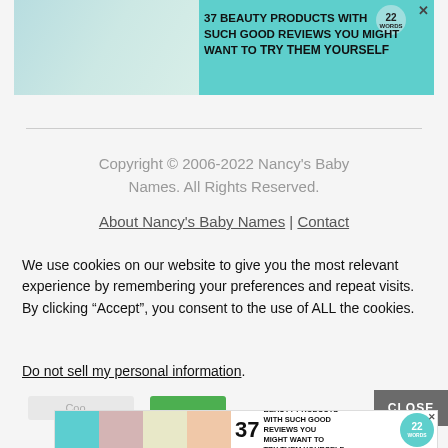[Figure (screenshot): Advertisement banner showing beauty products with teal background. Text reads '37 BEAUTY PRODUCTS WITH SUCH GOOD REVIEWS YOU MIGHT WANT TO TRY THEM YOURSELF'. Badge shows '22'.]
Copyright © 2006-2022 Nancy's Baby Names. All Rights Reserved.
About Nancy's Baby Names | Contact
We use cookies on our website to give you the most relevant experience by remembering your preferences and repeat visits. By clicking “Accept”, you consent to the use of ALL the cookies.
Do not sell my personal information.
[Figure (screenshot): Cookie consent bar with Cookie Settings button, Accept button in green, and CLOSE button in dark gray.]
[Figure (screenshot): Bottom advertisement banner showing '37 BEAUTY PRODUCTS WITH SUCH GOOD REVIEWS MIGHT WANT TO TRY THEM YOURSELF' with product images and badge showing '22 WORDS'.]